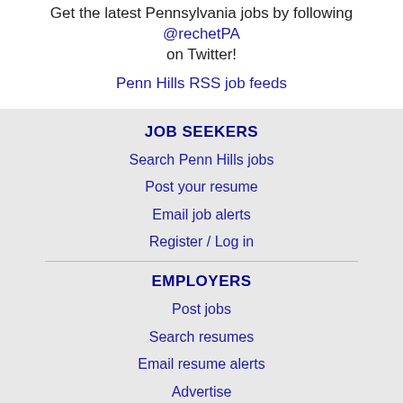Get the latest Pennsylvania jobs by following @rechetPA on Twitter!
Penn Hills RSS job feeds
JOB SEEKERS
Search Penn Hills jobs
Post your resume
Email job alerts
Register / Log in
EMPLOYERS
Post jobs
Search resumes
Email resume alerts
Advertise